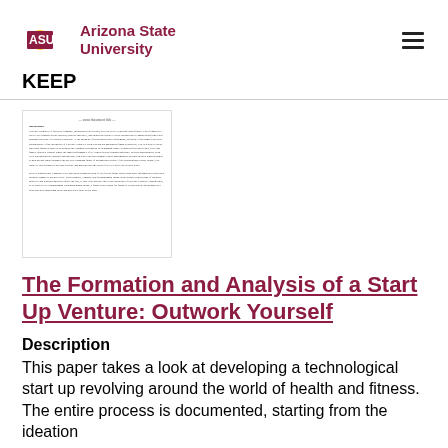[Figure (logo): Arizona State University logo with ASU text in maroon and gold sunburst icon]
KEEP
[Figure (screenshot): Small thumbnail preview of a document page with text about background and company information]
The Formation and Analysis of a Start Up Venture: Outwork Yourself
Description
This paper takes a look at developing a technological start up revolving around the world of health and fitness. The entire process is documented, starting from the ideation